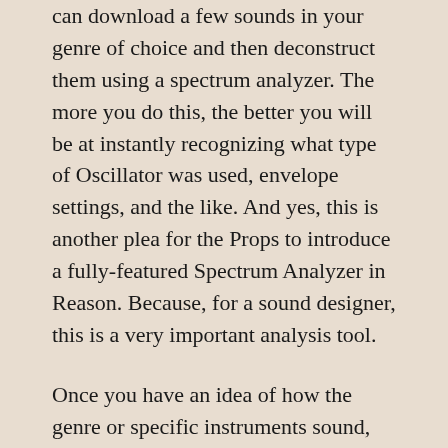can download a few sounds in your genre of choice and then deconstruct them using a spectrum analyzer. The more you do this, the better you will be at instantly recognizing what type of Oscillator was used, envelope settings, and the like. And yes, this is another plea for the Props to introduce a fully-featured Spectrum Analyzer in Reason. Because, for a sound designer, this is a very important analysis tool.
Once you have an idea of how the genre or specific instruments sound, the next step is to seek out information on how those sounds are built. I went to my best virtual friend next to Google to get the answer: Wikipedia. Enter